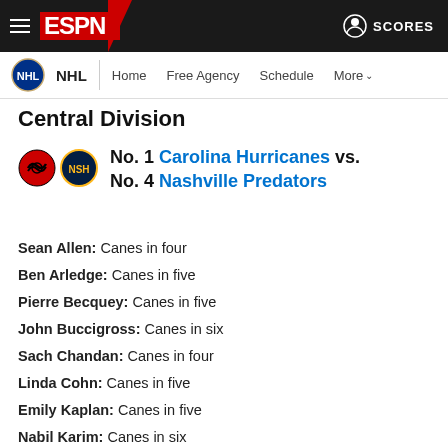ESPN - NHL - Home Free Agency Schedule More - SCORES
Central Division
No. 1 Carolina Hurricanes vs. No. 4 Nashville Predators
Sean Allen: Canes in four
Ben Arledge: Canes in five
Pierre Becquey: Canes in five
John Buccigross: Canes in six
Sach Chandan: Canes in four
Linda Cohn: Canes in five
Emily Kaplan: Canes in five
Nabil Karim: Canes in six
Tim Kavanagh: Canes in five